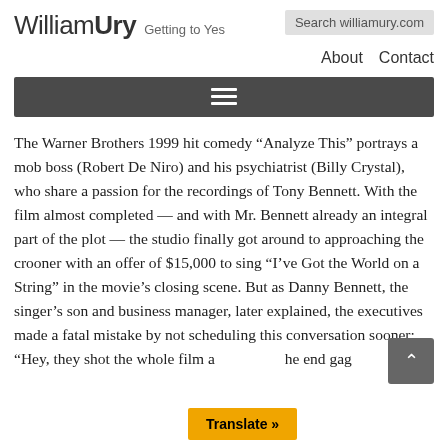William Ury Getting to Yes — Search williamury.com — About Contact
[Figure (other): Dark grey navigation menu bar with hamburger (three horizontal lines) icon centered]
The Warner Brothers 1999 hit comedy “Analyze This” portrays a mob boss (Robert De Niro) and his psychiatrist (Billy Crystal), who share a passion for the recordings of Tony Bennett. With the film almost completed — and with Mr. Bennett already an integral part of the plot — the studio finally got around to approaching the crooner with an offer of $15,000 to sing “I’ve Got the World on a String” in the movie’s closing scene. But as Danny Bennett, the singer’s son and business manager, later explained, the executives made a fatal mistake by not scheduling this conversation sooner: “Hey, they shot the whole film a... he end gag